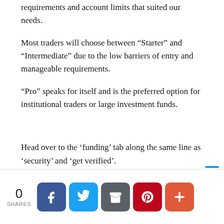requirements and account limits that suited our needs.
Most traders will choose between “Starter” and “Intermediate” due to the low barriers of entry and manageable requirements.
“Pro” speaks for itself and is the preferred option for institutional traders or large investment funds.
Head over to the ‘funding’ tab along the same line as ‘security’ and ‘get verified’.
You will be asked to accept acknowledgment that Kraken cannot be held responsible for the loss of funds.
0 SHARES — social share buttons: Facebook, Twitter, Email, Pinterest, More